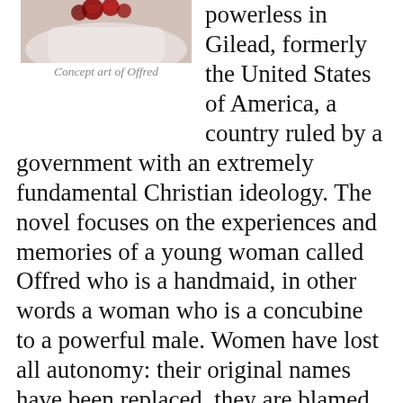[Figure (photo): Photo of a person in a white outfit with red accessories, concept art of Offred]
Concept art of Offred
powerless in Gilead, formerly the United States of America, a country ruled by a government with an extremely fundamental Christian ideology. The novel focuses on the experiences and memories of a young woman called Offred who is a handmaid, in other words a woman who is a concubine to a powerful male. Women have lost all autonomy: their original names have been replaced, they are blamed for widespread infertility problems, they are banned from reading and they are considered intellectually inferior.
Both genders are subject to hierarchy, with male Commanders of the Faithful ruling at the